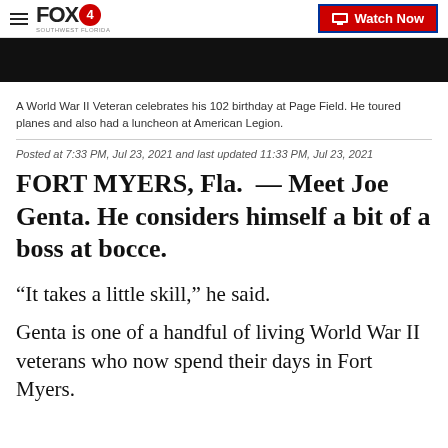FOX4 — Watch Now
[Figure (photo): Black video thumbnail area]
A World War II Veteran celebrates his 102 birthday at Page Field. He toured planes and also had a luncheon at American Legion.
Posted at 7:33 PM, Jul 23, 2021 and last updated 11:33 PM, Jul 23, 2021
FORT MYERS, Fla.  — Meet Joe Genta. He considers himself a bit of a boss at bocce.
“It takes a little skill,” he said.
Genta is one of a handful of living World War II veterans who now spend their days in Fort Myers.